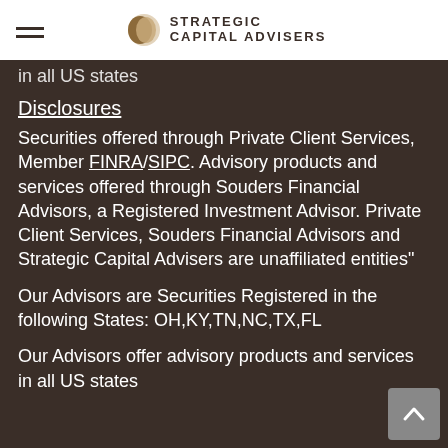Strategic Capital Advisers
in all US states
Disclosures
Securities offered through Private Client Services, Member FINRA/SIPC. Advisory products and services offered through Souders Financial Advisors, a Registered Investment Advisor. Private Client Services, Souders Financial Advisors and Strategic Capital Advisers are unaffiliated entities"
Our Advisors are Securities Registered in the following States: OH,KY,TN,NC,TX,FL
Our Advisors offer advisory products and services in all US states